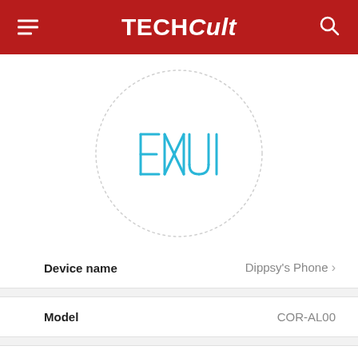TECHCult
[Figure (logo): EMUI logo centered inside a dashed/dotted circular ring on white background]
| Device name | Dippsy's Phone |
| Model | COR-AL00 |
| Build number | 9.1.0.378(C675E2R1P9) GPU Turbo |